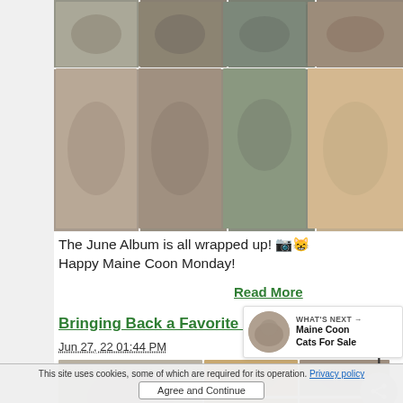[Figure (photo): Grid of Maine Coon cat photos, 2 rows of 4]
The June Album is all wrapped up! 🐱😸 Happy Maine Coon Monday!
Read More
Bringing Back a Favorite Feature!
Jun 27, 22 01:44 PM
[Figure (photo): Grid of Maine Coon cat photos for second post]
[Figure (photo): What's Next thumbnail of Maine Coon cat]
WHAT'S NEXT → Maine Coon Cats For Sale
This site uses cookies, some of which are required for its operation. Privacy policy   Agree and Continue